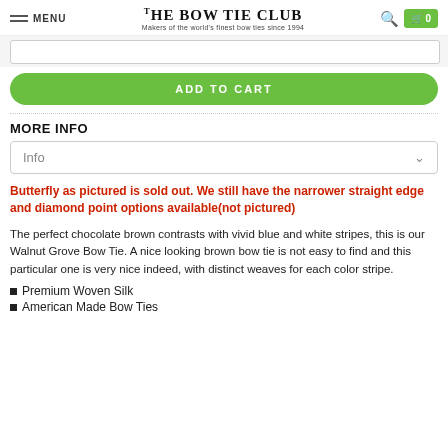MENU | THE BOW TIE CLUB Makers of the world's finest bow ties since 1994 | 0
ADD TO CART
MORE INFO
Info
Butterfly as pictured is sold out.  We still have the narrower straight edge and diamond point options available(not pictured)
The perfect chocolate brown contrasts with vivid blue and white stripes, this is our Walnut Grove Bow Tie. A nice looking brown bow tie is not easy to find and this particular one is very nice indeed, with distinct weaves for each color stripe.
Premium Woven Silk
American Made Bow Ties